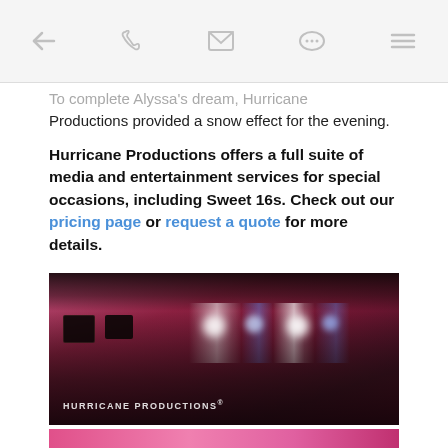← ✆ ✉ … ≡
To complete Alyssa's dream, Hurricane Productions provided a snow effect for the evening.
Hurricane Productions offers a full suite of media and entertainment services for special occasions, including Sweet 16s. Check out our pricing page or request a quote for more details.
[Figure (photo): Crowded dance floor at a Sweet 16 party with pink/magenta stage lighting, truss with spotlights, and 'HURRICANE PRODUCTIONS' watermark in lower left corner]
[Figure (photo): Partial view of another event photo with pink/magenta lighting at the bottom of the page]